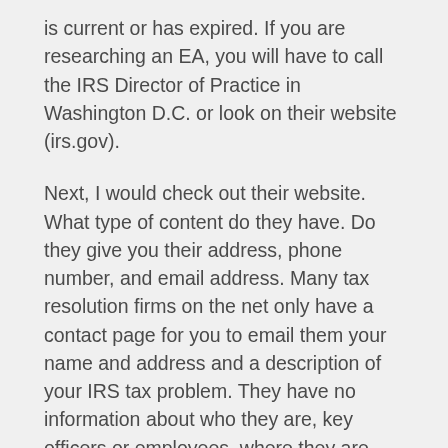is current or has expired. If you are researching an EA, you will have to call the IRS Director of Practice in Washington D.C. or look on their website (irs.gov).
Next, I would check out their website. What type of content do they have. Do they give you their address, phone number, and email address. Many tax resolution firms on the net only have a contact page for you to email them your name and address and a description of your IRS tax problem. They have no information about who they are, key officers or employees, where they are located, etc. This should be a tip off that you're dealing with a fly by night operation. If their site has little content or makes guarantees about what they can achieve, even without getting any information from you, watch out! There are a lot of scam artists and snake oil salesmen on the internet. Caveat emptor. Let the